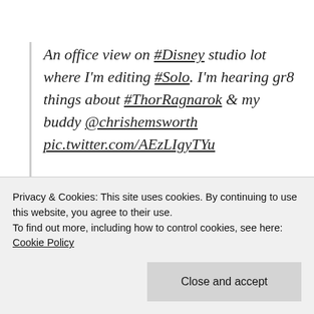An office view on #Disney studio lot where I'm editing #Solo. I'm hearing gr8 things about #ThorRagnarok & my buddy @chrishemsworth pic.twitter.com/AEzLIgyTYu
— Ron Howard
(@RealRonHoward) October 28...
Privacy & Cookies: This site uses cookies. By continuing to use this website, you agree to their use.
To find out more, including how to control cookies, see here: Cookie Policy